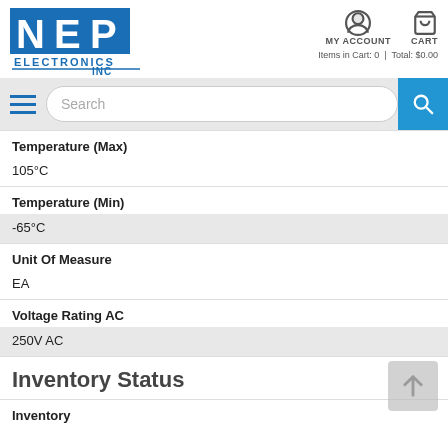[Figure (logo): NEP Electronics Inc logo in blue]
MY ACCOUNT
CART
Items in Cart: 0 | Total: $0.00
Search
Temperature (Max)
105°C
Temperature (Min)
-65°C
Unit Of Measure
EA
Voltage Rating AC
250V AC
Inventory Status
Inventory